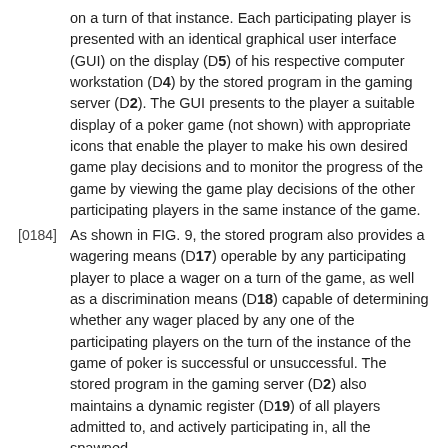on a turn of that instance. Each participating player is presented with an identical graphical user interface (GUI) on the display (D5) of his respective computer workstation (D4) by the stored program in the gaming server (D2). The GUI presents to the player a suitable display of a poker game (not shown) with appropriate icons that enable the player to make his own desired game play decisions and to monitor the progress of the game by viewing the game play decisions of the other participating players in the same instance of the game.
[0184] As shown in FIG. 9, the stored program also provides a wagering means (D17) operable by any participating player to place a wager on a turn of the game, as well as a discrimination means (D18) capable of determining whether any wager placed by any one of the participating players on the turn of the instance of the game of poker is successful or unsuccessful. The stored program in the gaming server (D2) also maintains a dynamic register (D19) of all players admitted to, and actively participating in, all the spawned